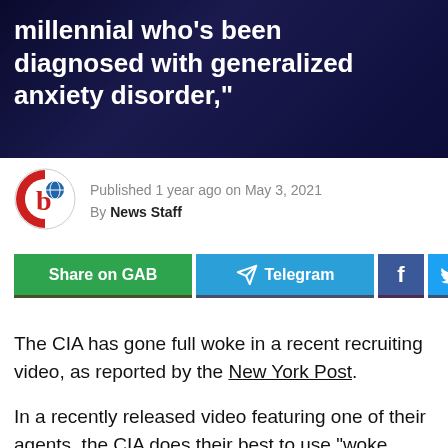millennial who’s been diagnosed with generalized anxiety disorder,”
Published 1 year ago on May 3, 2021
By News Staff
[Figure (logo): circular logo with letter b and globe icon, red and white]
[Figure (infographic): Share buttons row: Share on GAB (green), Telegram (blue), Facebook (dark blue), Twitter (light blue), and one more (gray)]
The CIA has gone full woke in a recent recruiting video, as reported by the New York Post.
In a recently released video featuring one of their agents, the CIA does their best to use “woke speech,” targeting young millennials.